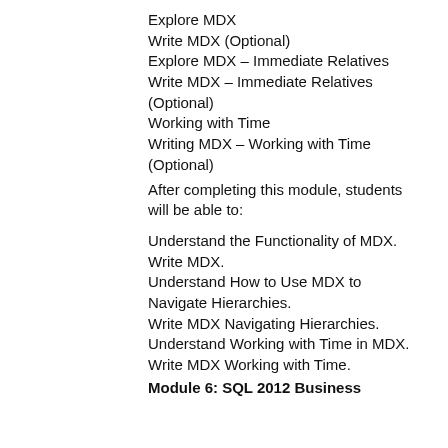Explore MDX
Write MDX (Optional)
Explore MDX – Immediate Relatives
Write MDX – Immediate Relatives (Optional)
Working with Time
Writing MDX – Working with Time (Optional)
After completing this module, students will be able to:
Understand the Functionality of MDX.
Write MDX.
Understand How to Use MDX to Navigate Hierarchies.
Write MDX Navigating Hierarchies.
Understand Working with Time in MDX.
Write MDX Working with Time.
Module 6: SQL 2012 Business